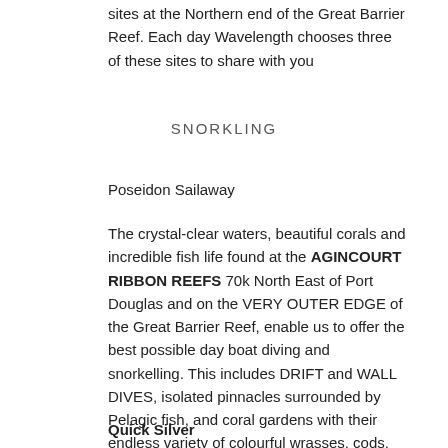sites at the Northern end of the Great Barrier Reef. Each day Wavelength chooses three of these sites to share with you
SNORKLING
Poseidon Sailaway
The crystal-clear waters, beautiful corals and incredible fish life found at the AGINCOURT RIBBON REEFS 70k North East of Port Douglas and on the VERY OUTER EDGE of the Great Barrier Reef, enable us to offer the best possible day boat diving and snorkelling. This includes DRIFT and WALL DIVES, isolated pinnacles surrounded by Pelagic fish, and coral gardens with their endless variety of colourful wrasses, cods, parrot fish, angel fish, clams and anemones, that make a healthy living reef so beautiful.
Quick Silver